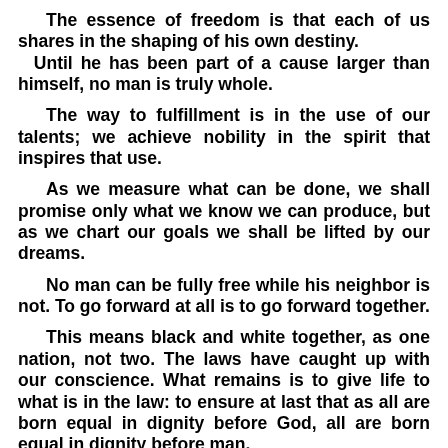The essence of freedom is that each of us shares in the shaping of his own destiny.
  Until he has been part of a cause larger than himself, no man is truly whole.
The way to fulfillment is in the use of our talents; we achieve nobility in the spirit that inspires that use.
As we measure what can be done, we shall promise only what we know we can produce, but as we chart our goals we shall be lifted by our dreams.
No man can be fully free while his neighbor is not. To go forward at all is to go forward together.
This means black and white together, as one nation, not two. The laws have caught up with our conscience. What remains is to give life to what is in the law: to ensure at last that as all are born equal in dignity before God, all are born equal in dignity before man.
As we learn to go forward together at home, let us also